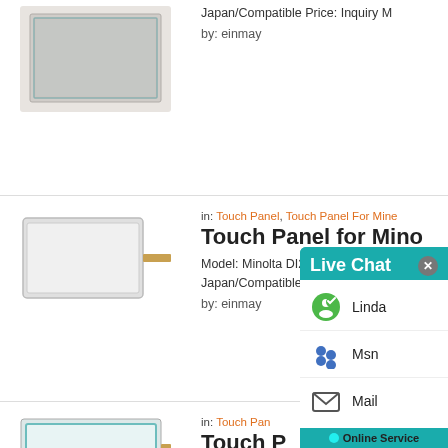[Figure (photo): Touch panel glass product photo - flat rectangular panel]
Japan/Compatible Price: Inquiry M
by: einmay
in: Touch Panel, Touch Panel For Mine
Touch Panel for Mino
Model: Minolta DI2010/2510 Produ Japan/Compatible Price: Inquiry M
by: einmay
[Figure (photo): Touch panel with ribbon cable connector]
in: Touch Pan
Touch P
Model: Mino Japan/Comp
by: einmay
[Figure (photo): Touch panel with teal/green border and ribbon cable]
[Figure (screenshot): Live Chat popup with Linda, Msn, Mail options and Online Service button]